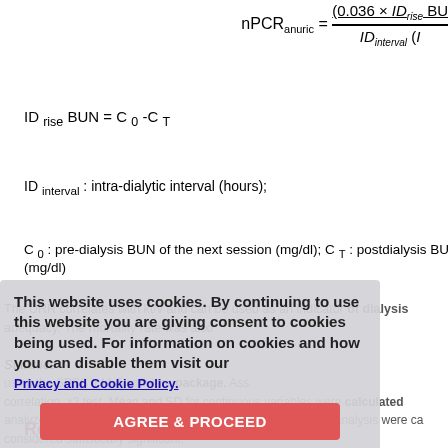ID interval : intra-dialytic interval (hours);
C 0 : pre-dialysis BUN of the next session (mg/dl); C T : postdialysis BUN (mg/dl)
The URR correlates with kt/v and can be used as an indicator of dialysis adequacy. The mortality rate was also
Statistics
using the SPSS v.11.5 software package. Associations were assessed using correlation, x2 test. Mean and SD for continuous variables were calculated and analyzed using the t test. Descriptive statistics and regression analysis were ca... considered statistically significant.
This website uses cookies. By continuing to use this website you are giving consent to cookies being used. For information on cookies and how you can disable them visit our Privacy and Cookie Policy.
Results